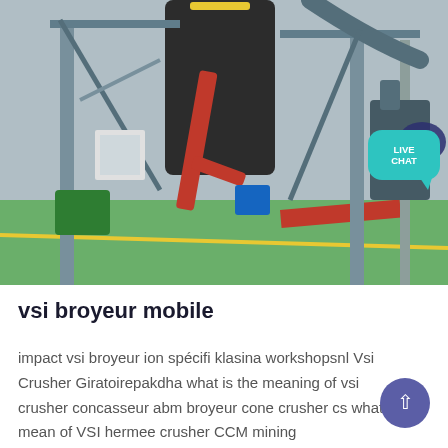[Figure (photo): Industrial manufacturing facility interior showing a large red and black machine (mill or crusher) with steel structural framework, pipes, green and yellow painted floor, and various industrial equipment.]
vsi broyeur mobile
impact vsi broyeur ion spécifi klasina workshopsnl Vsi Crusher Giratoirepakdha what is the meaning of vsi crusher concasseur abm broyeur cone crusher cs what mean of VSI hermee crusher CCM mining